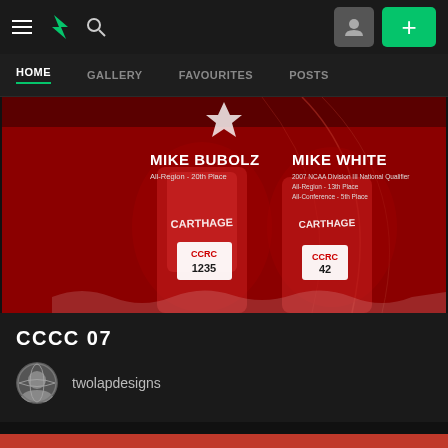DeviantArt navigation bar with hamburger menu, DA logo, search icon, profile button, and add (+) button
HOME | GALLERY | FAVOURITES | POSTS
[Figure (photo): Two Carthage College cross country runners in red uniforms with bib numbers 1235 and 42 on a dark red background. Text overlays read: MIKE BUBOLZ - All-Region - 20th Place; MIKE WHITE - 2007 NCAA Division III National Qualifier, All-Region - 13th Place, All-Conference - 5th Place]
CCCC 07
twolapdesigns
COMMENTS 33